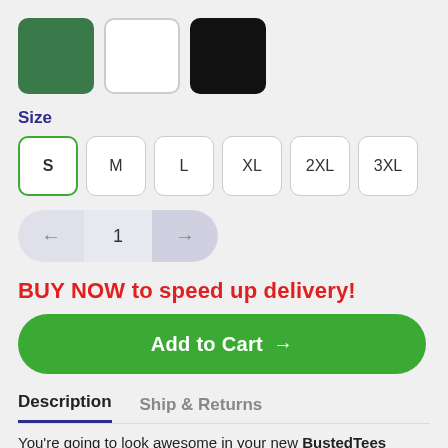[Figure (other): Three color swatches: green (selected), white, black]
Size
[Figure (other): Size selector buttons: S (selected, green border), M, L, XL, 2XL, 3XL]
[Figure (other): Quantity stepper showing left arrow, 1, right arrow]
BUY NOW to speed up delivery!
[Figure (other): Add to Cart button with right arrow]
Description | Ship & Returns
You're going to look awesome in your new BustedTees gear! With a stylish fit you can feel and a custom design...